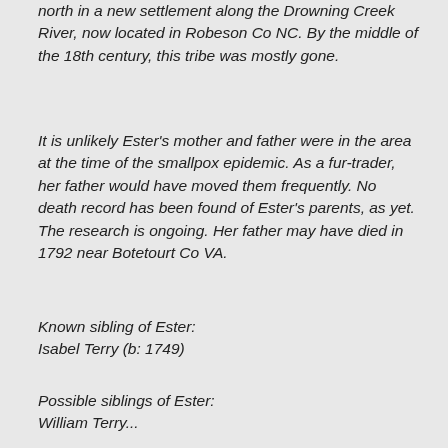north in a new settlement along the Drowning Creek River, now located in Robeson Co NC. By the middle of the 18th century, this tribe was mostly gone.
It is unlikely Ester's mother and father were in the area at the time of the smallpox epidemic. As a fur-trader, her father would have moved them frequently. No death record has been found of Ester's parents, as yet. The research is ongoing. Her father may have died in 1792 near Botetourt Co VA.
Known sibling of Ester:
Isabel Terry (b: 1749)
Possible siblings of Ester:
William Terry...